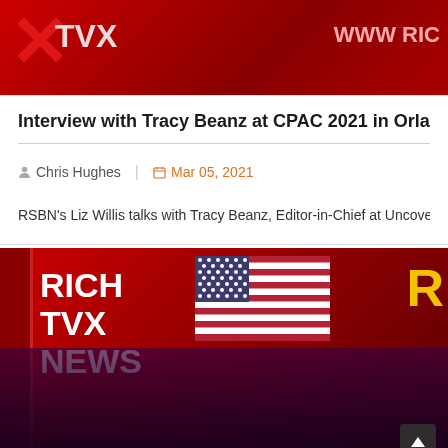[Figure (screenshot): Top portion of a Rich TVX video thumbnail showing 'TVX' text with X cross overlay in red, and 'WWW RIC' text on the right side]
Interview with Tracy Beanz at CPAC 2021 in Orlando, F
Chris Hughes  |  Mar 05, 2021
RSBN's Liz Willis talks with Tracy Beanz, Editor-in-Chief at UncoverD
[Figure (screenshot): Rich TVX News studio background image with 'RICH TVX NEWS' text on left, American flag in center, red background, dark lower portion with silhouette, and scroll-to-top button in bottom right corner]